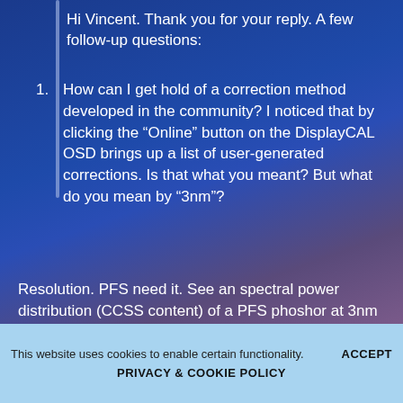Hi Vincent. Thank you for your reply. A few follow-up questions:
How can I get hold of a correction method developed in the community? I noticed that by clicking the “Online” button on the DisplayCAL OSD brings up a list of user-generated corrections. Is that what you meant? But what do you mean by “3nm”?
Resolution. PFS need it. See an spectral power distribution (CCSS content) of a PFS phoshor at 3nm and 10nm and 1nm. Xrite spectros for graphic arts read at 10nm with other software and may imporve to 3nm using argyll.
jomomo wrote:
This website uses cookies to enable certain functionality. ACCEPT
PRIVACY & COOKIE POLICY